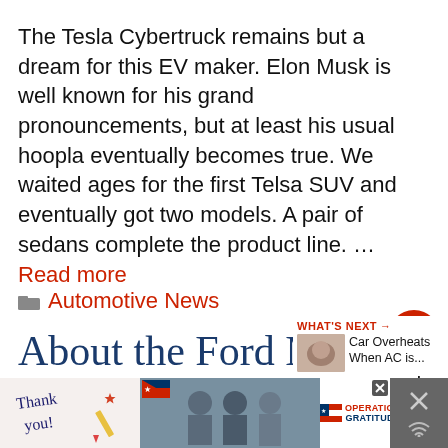The Tesla Cybertruck remains but a dream for this EV maker. Elon Musk is well known for his grand pronouncements, but at least his usual hoopla eventually becomes true. We waited ages for the first Telsa SUV and eventually got two models. A pair of sedans complete the product line. … Read more
Automotive News
[Figure (other): Heart/like button (red circle with heart icon) and share button (grey circle with share icon), with count label '1']
About the Ford Musta Mach-E Stop Sell Order
[Figure (other): WHAT'S NEXT panel with thumbnail image and text 'Car Overheats When AC is...']
[Figure (other): Advertisement banner: 'Thank you!' with Operation Gratitude branding and patriotic imagery]